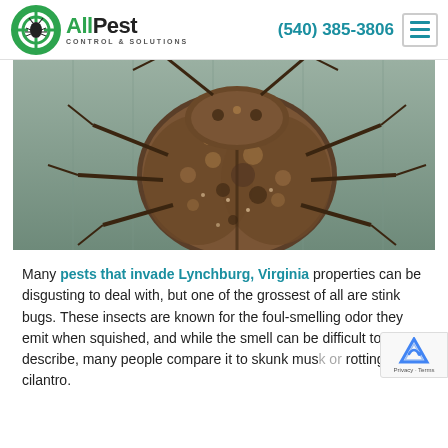AllPest Control & Solutions | (540) 385-3806
[Figure (photo): Close-up macro photograph of a brown marmorated stink bug on a metallic grey surface, showing detailed mottled brown and black patterning on its shield-shaped body, antennae visible at top]
Many pests that invade Lynchburg, Virginia properties can be disgusting to deal with, but one of the grossest of all are stink bugs. These insects are known for the foul-smelling odor they emit when squished, and while the smell can be difficult to describe, many people compare it to skunk musk or rotting cilantro.